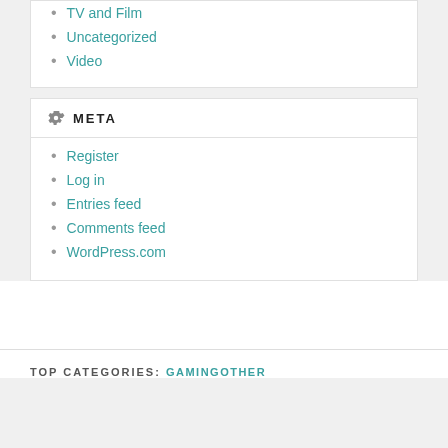TV and Film
Uncategorized
Video
META
Register
Log in
Entries feed
Comments feed
WordPress.com
TOP CATEGORIES: GAMINGOTHER